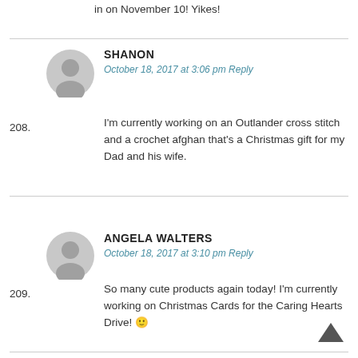in on November 10! Yikes!
208. SHANON — October 18, 2017 at 3:06 pm Reply — I'm currently working on an Outlander cross stitch and a crochet afghan that's a Christmas gift for my Dad and his wife.
209. ANGELA WALTERS — October 18, 2017 at 3:10 pm Reply — So many cute products again today! I'm currently working on Christmas Cards for the Caring Hearts Drive! 🙂